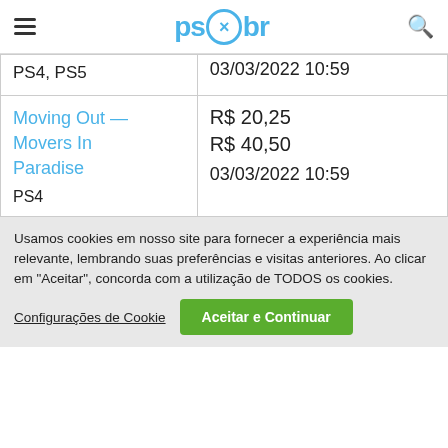ps×br
| PS4, PS5 | 03/03/2022 10:59 |
| Moving Out — Movers In Paradise
PS4 | R$ 20,25
R$ 40,50
03/03/2022 10:59 |
Usamos cookies em nosso site para fornecer a experiência mais relevante, lembrando suas preferências e visitas anteriores. Ao clicar em "Aceitar", concorda com a utilização de TODOS os cookies.
Configurações de Cookie   Aceitar e Continuar